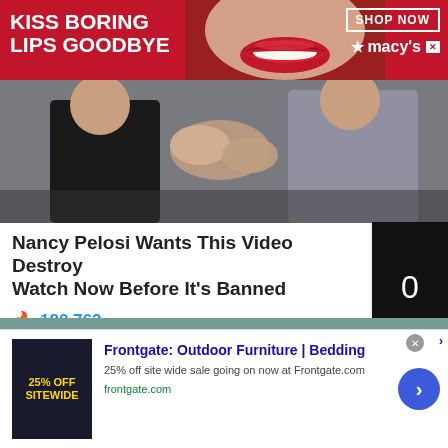[Figure (photo): Macy's advertisement banner with red background, woman with red lips, KISS BORING LIPS GOODBYE text, SHOP NOW button]
[Figure (photo): Two people in suits appearing to wrestle or fight]
Nancy Pelosi Wants This Video Destroyed Watch Now Before It's Banned
180,762
[Figure (photo): Person in flood water with yellow circle highlight]
[Figure (infographic): Frontgate Outdoor Furniture | Bedding advertisement with 25% OFF SITEWIDE offer, frontgate.com]